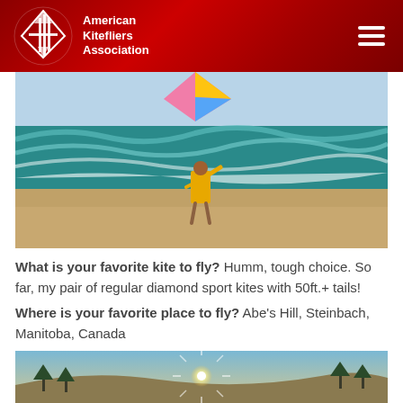American Kitefliers Association
[Figure (photo): Person in yellow jacket standing on a beach with waves, holding arm up, with a colorful kite visible at the top]
What is your favorite kite to fly? Humm, tough choice. So far, my pair of regular diamond sport kites with 50ft.+ tails!
Where is your favorite place to fly? Abe's Hill, Steinbach, Manitoba, Canada
[Figure (photo): Sunset or sunrise over a grassy hill with trees, sun creating star burst effect]